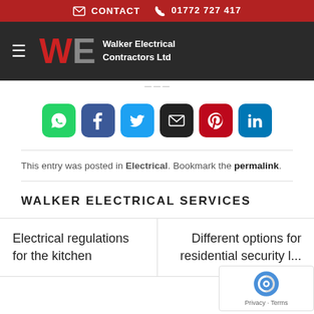CONTACT  01772 727 417
[Figure (logo): Walker Electrical Contractors Ltd logo with large W in red and E in grey, company name in white on dark background]
[Figure (infographic): Row of social sharing buttons: WhatsApp (green), Facebook (blue), Twitter (blue), Email (black), Pinterest (red), LinkedIn (blue)]
This entry was posted in Electrical. Bookmark the permalink.
WALKER ELECTRICAL SERVICES
Electrical regulations for the kitchen
Different options for residential security l...